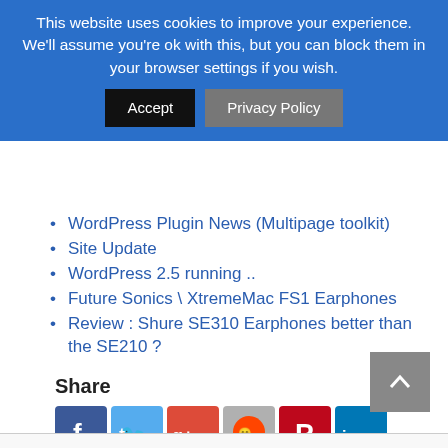This website uses cookies to improve your experience. We'll assume you're ok with this, but you can block them in your browser settings if you wish. [Accept] [Privacy Policy]
WordPress Plugin News (Multipage toolkit)
Site Update
WordPress 2.5 running ..
Future Sonics \ XtremeMac FS1 Earphones
Review : Shure SE310 Earphones better than the SE210 ?
Share
[Figure (other): Social share icons: Facebook, Twitter, Google+, Reddit, Pinterest, LinkedIn, Tumblr, Email]
[Figure (other): Back to top arrow button (grey)]